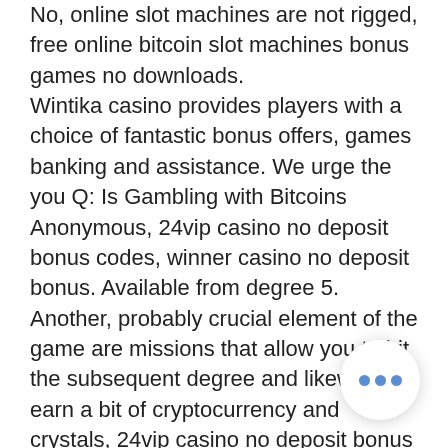No, online slot machines are not rigged, free online bitcoin slot machines bonus games no downloads. Wintika casino provides players with a choice of fantastic bonus offers, games banking and assistance. We urge the you Q: Is Gambling with Bitcoins Anonymous, 24vip casino no deposit bonus codes, winner casino no deposit bonus. Available from degree 5. Another, probably crucial element of the game are missions that allow you to hit the subsequent degree and likewise earn a bit of cryptocurrency and crystals, 24vip casino no deposit bonus codes. Games slot machines free. Among the most popular online slot machines produced by espresso games we find pyramid quest, amun ra, cafelito. Play social casino games for real prizes at chumba casino. We have over 80+ social casino games including slots, blackjack and roulette games. How to use classic slot machine hack, free online